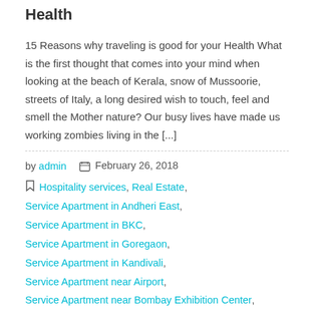Health
15 Reasons why traveling is good for your Health What is the first thought that comes into your mind when looking at the beach of Kerala, snow of Mussoorie, streets of Italy, a long desired wish to touch, feel and smell the Mother nature? Our busy lives have made us working zombies living in the [...]
by admin  February 26, 2018
Hospitality services, Real Estate, Service Apartment in Andheri East, Service Apartment in BKC, Service Apartment in Goregaon, Service Apartment in Kandivali, Service Apartment near Airport, Service Apartment near Bombay Exhibition Center, Service Apartments, Service Apartments Mumbai
Read More